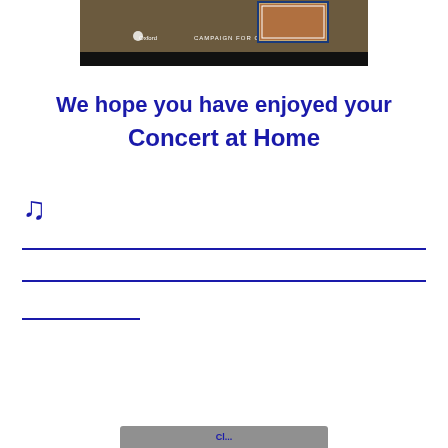[Figure (screenshot): Partial view of an Oxford Campaign booklet cover with dark brown/navy background, showing text 'CAMPAIGN FOR OXFORD' and a decorative image at the top.]
We hope you have enjoyed your Concert at Home
♫
___________________________________
___________________________________
____________
[Figure (other): Partial grey button/banner at the bottom of the page, partially cut off.]